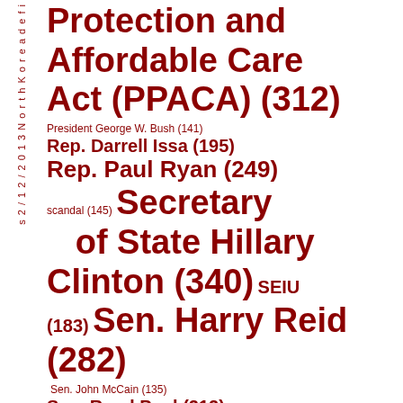North Korea defi… (sidebar text partial)
[Figure (infographic): Word cloud of political topics/names with frequency counts in dark red, sized by frequency. Topics include: Patient Protection and Affordable Care Act (PPACA) (312), President George W. Bush (141), Rep. Darrell Issa (195), Rep. Paul Ryan (249), scandal (145), Secretary of State Hillary Clinton (340), SEIU (183), Sen. Harry Reid (282), Sen. John McCain (135), Sen. Rand Paul (212), Sen. Ted Cruz (188), Shariah Law (169), Speaker John Boehner (209), Syria (207), Twitter (241), tyranny (148), Vice President Joe Biden (149). Sidebar reads 'North Korea defi...' vertically.]